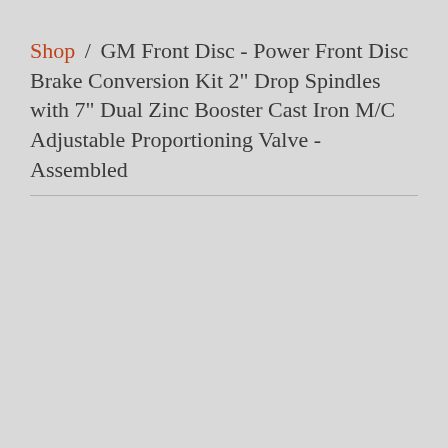Shop / GM Front Disc - Power Front Disc Brake Conversion Kit 2" Drop Spindles with 7" Dual Zinc Booster Cast Iron M/C Adjustable Proportioning Valve - Assembled